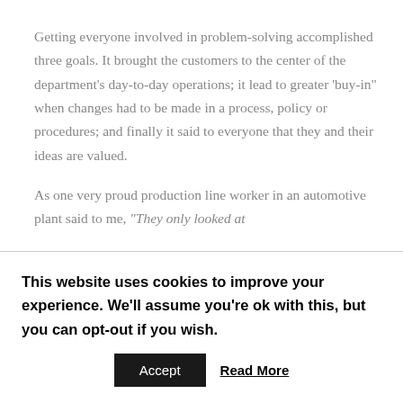Getting everyone involved in problem-solving accomplished three goals. It brought the customers to the center of the department's day-to-day operations; it lead to greater 'buy-in" when changes had to be made in a process, policy or procedures; and finally it said to everyone that they and their ideas are valued.
As one very proud production line worker in an automotive plant said to me, “They only looked at
This website uses cookies to improve your experience. We'll assume you're ok with this, but you can opt-out if you wish.
Accept
Read More